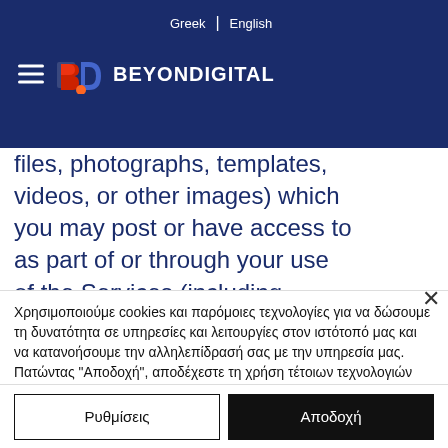[Figure (logo): BeyondDigital logo with hamburger menu and language switcher in dark blue navigation bar]
All written audio files, photographs, templates, videos, or other images) which you may post or have access to as part of or through your use of the Services (including BEYONDIGITAL Materials and User Materials) is referred to as "Content". Content is the sole responsibility of
Χρησιμοποιούμε cookies και παρόμοιες τεχνολογίες για να δώσουμε τη δυνατότητα σε υπηρεσίες και λειτουργίες στον ιστότοπό μας και να κατανοήσουμε την αλληλεπίδρασή σας με την υπηρεσία μας. Πατώντας "Αποδοχή", αποδέχεστε τη χρήση τέτοιων τεχνολογιών για το μάρκετινγκ και αναλυτικά στοιχεία. Ανατρέξτε στην Πολιτική Απορρήτου
Ρυθμίσεις
Αποδοχή